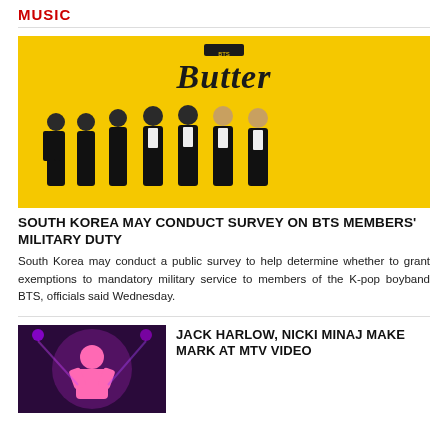MUSIC
[Figure (photo): BTS members posing in front of a yellow 'Butter' promotional backdrop, all dressed in dark suits]
SOUTH KOREA MAY CONDUCT SURVEY ON BTS MEMBERS' MILITARY DUTY
South Korea may conduct a public survey to help determine whether to grant exemptions to mandatory military service to members of the K-pop boyband BTS, officials said Wednesday.
[Figure (photo): Nicki Minaj performing on stage in a pink outfit at the MTV Video Music Awards, with purple stage lighting]
JACK HARLOW, NICKI MINAJ MAKE MARK AT MTV VIDEO